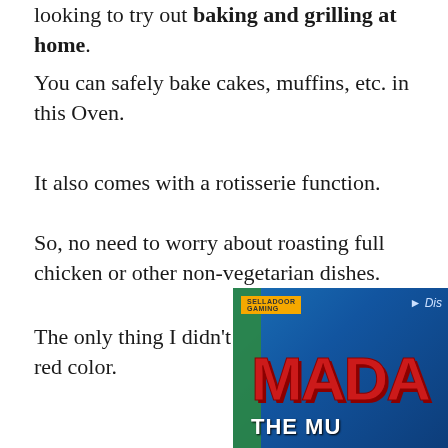looking to try out baking and grilling at home.
You can safely bake cakes, muffins, etc. in this Oven.
It also comes with a rotisserie function.
So, no need to worry about roasting full chicken or other non-vegetarian dishes.
The only thing I didn’t like in this Oven is its red color.
[Figure (photo): Advertisement banner for Madagascar The Musical showing a person dressed as a lion with colorful text on a blue background, with SELLADOOR GAMING branding and Disney logo.]